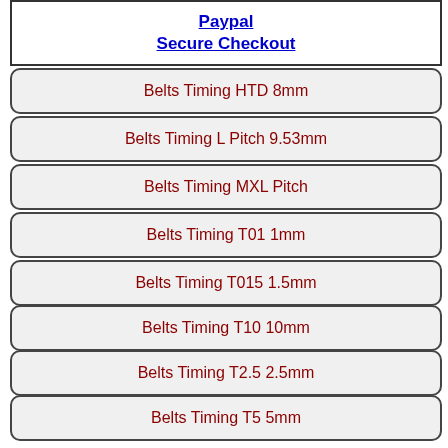[Figure (other): Paypal Secure Checkout link box with blue underlined text]
Belts Timing HTD 8mm
Belts Timing L Pitch 9.53mm
Belts Timing MXL Pitch
Belts Timing T01 1mm
Belts Timing T015 1.5mm
Belts Timing T10 10mm
Belts Timing T2.5 2.5mm
Belts Timing T5 5mm
Belts Timing XL Pitch 5.08mm
Bumpers
[Figure (logo): Visa logo with dark blue bar and VISA text]